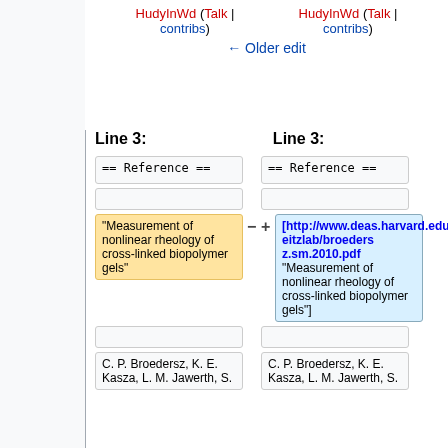HudyInWd (Talk | contribs) HudyInWd (Talk | contribs) ← Older edit
Line 3: Line 3:
== Reference == == Reference ==
"Measurement of nonlinear rheology of cross-linked biopolymer gels"
[http://www.deas.harvard.edu/weitzlab/broeders z.sm.2010.pdf "Measurement of nonlinear rheology of cross-linked biopolymer gels"]
C. P. Broedersz, K. E. Kasza, L. M. Jawerth, S.
C. P. Broedersz, K. E. Kasza, L. M. Jawerth, S.